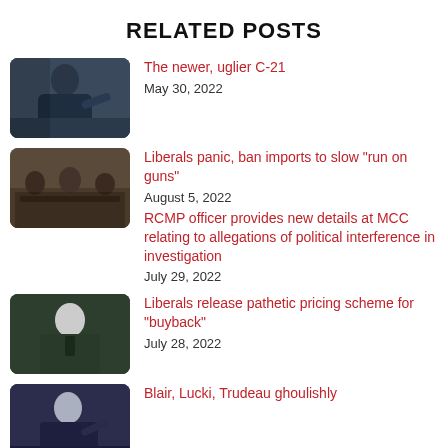RELATED POSTS
[Figure (photo): Man in blue suit pointing, parliamentary setting]
The newer, uglier C-21
May 30, 2022
[Figure (photo): Group of people sitting around a table in a restaurant]
Liberals panic, ban imports to slow "run on guns"
August 5, 2022
RCMP officer provides new details at MCC relating to allegations of political interference in investigation
July 29, 2022
[Figure (photo): Man in dark suit at podium or parliament]
[Figure (photo): Man in dark suit pointing, parliamentary setting]
Liberals release pathetic pricing scheme for "buyback"
July 28, 2022
Blair, Lucki, Trudeau ghoulishly